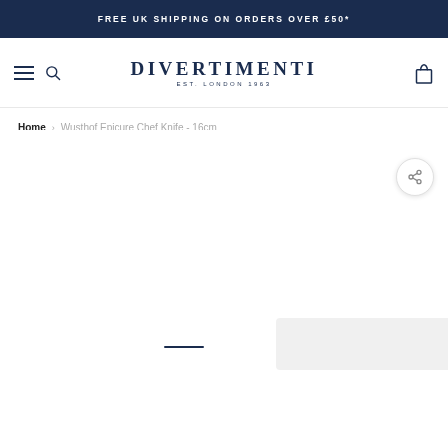FREE UK SHIPPING ON ORDERS OVER £50*
[Figure (logo): Divertimenti logo with text EST. LONDON 1963]
Home › Wusthof Epicure Chef Knife - 16cm
[Figure (photo): Product page for Wusthof Epicure Chef Knife - 16cm, image area with scroll indicator and faded add to cart button panel]